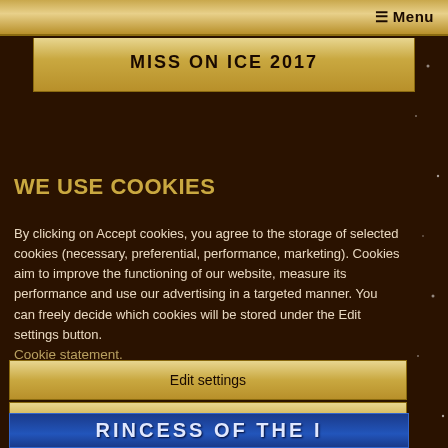☰ Menu
MISS ON ICE 2017
WE USE COOKIES
By clicking on Accept cookies, you agree to the storage of selected cookies (necessary, preferential, performance, marketing). Cookies aim to improve the functioning of our website, measure its performance and use our advertising in a targeted manner. You can freely decide which cookies will be stored under the Edit settings button.
Cookie statement.
Edit settings
Accept cookies
[Figure (screenshot): Partial bottom banner with blue background and partial text visible, likely reading 'PRINCESS OF THE ICE' or similar]